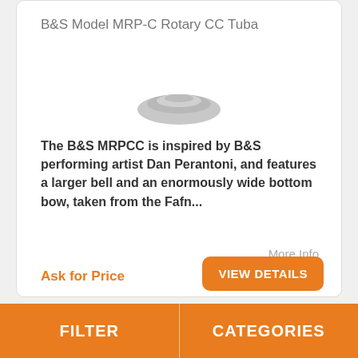[Figure (photo): Top portion of a brass rotary CC tuba instrument, shown cropped at the top of the first product card]
B&S Model MRP-C Rotary CC Tuba
The B&S MRPCC is inspired by B&S performing artist Dan Perantoni, and features a larger bell and an enormously wide bottom bow, taken from the Fafn...
More Info
Ask for Price
VIEW DETAILS
[Figure (photo): Top portion of a gold/brass tuba instrument visible in the second product card at the bottom of the page]
FILTER | CATEGORIES